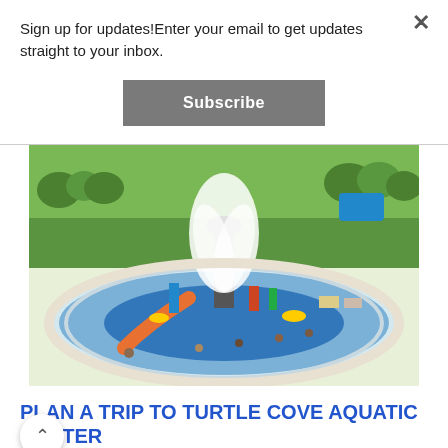Sign up for updates!Enter your email to get updates straight to your inbox.
Subscribe
[Figure (photo): Aerial view of Turtle Cove Aquatic Center water park with large water splash feature, orange slide, blue lazy river area, and green park surroundings with many visitors on a summer day.]
PLAN A TRIP TO TURTLE COVE AQUATIC CENTER
Hold on to the final weeks of summer at Huron-Clinton Metroparks' Turtle Cove Aquatic